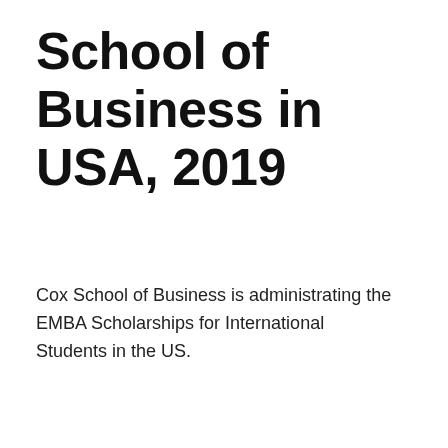School of Business in USA, 2019
Cox School of Business is administrating the EMBA Scholarships for International Students in the US.